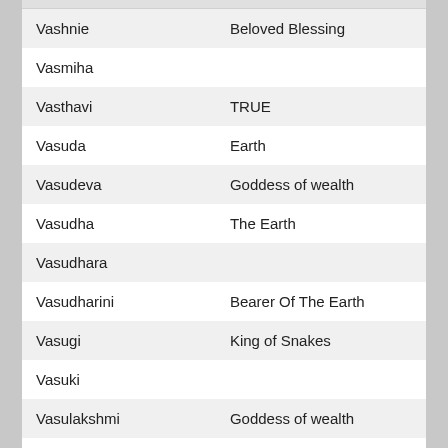| Name | Meaning |
| --- | --- |
| Vashnie | Beloved Blessing |
| Vasmiha |  |
| Vasthavi | TRUE |
| Vasuda | Earth |
| Vasudeva | Goddess of wealth |
| Vasudha | The Earth |
| Vasudhara |  |
| Vasudharini | Bearer Of The Earth |
| Vasugi | King of Snakes |
| Vasuki |  |
| Vasulakshmi | Goddess of wealth |
| Vasumatha | Wealth |